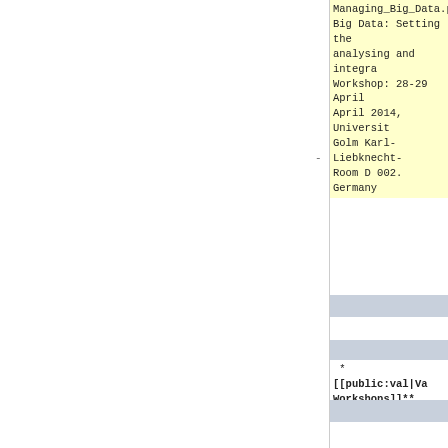Managing_Big_Data.pdf Big Data: Setting the analysing and integra Workshop: 28-29 April April 2014, Universit Golm Karl-Liebknecht- Room D 002. Germany
* **[[public:val|Va Workshops]]** click t